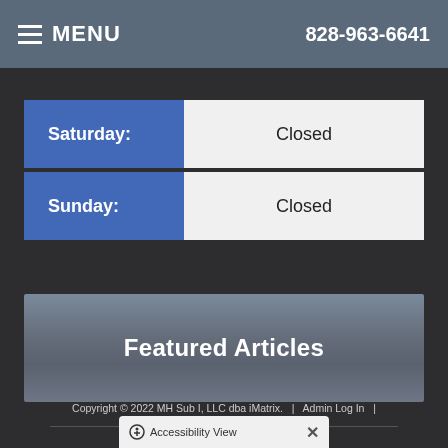MENU | 828-963-6641
| Day | Hours |
| --- | --- |
| Saturday: | Closed |
| Sunday: | Closed |
Featured Articles
[Figure (other): Facebook and Twitter social media icon buttons]
Copyright © 2022 MH Sub I, LLC dba iMatrix.  |  Admin Log In  |  Site Map